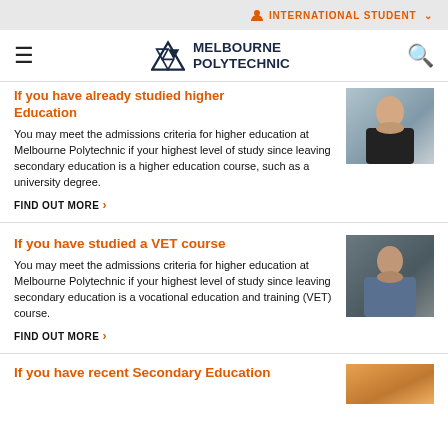INTERNATIONAL STUDENT
[Figure (logo): Melbourne Polytechnic logo with geometric diamond/triangle mark and text]
If you have already studied higher Education
You may meet the admissions criteria for higher education at Melbourne Polytechnic if your highest level of study since leaving secondary education is a higher education course, such as a university degree.
FIND OUT MORE >
[Figure (photo): Woman with arms crossed, smiling, professional attire]
If you have studied a VET course
You may meet the admissions criteria for higher education at Melbourne Polytechnic if your highest level of study since leaving secondary education is a vocational education and training (VET) course.
FIND OUT MORE >
[Figure (photo): Older man with arms crossed, wearing denim jacket, industrial background]
If you have recent Secondary Education